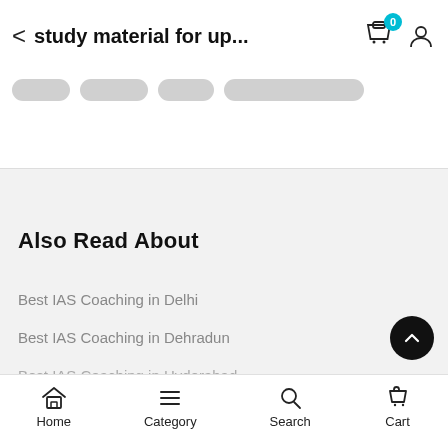study material for up...
Also Read About
Best IAS Coaching in Delhi
Best IAS Coaching in Dehradun
Best IAS Coaching in Hyderabad
Home  Category  Search  Cart